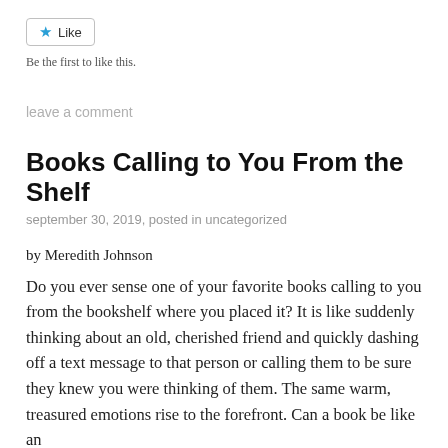[Figure (other): Like button with star icon and text 'Like']
Be the first to like this.
leave a comment
Books Calling to You From the Shelf
september 30, 2019, posted in uncategorized
by Meredith Johnson
Do you ever sense one of your favorite books calling to you from the bookshelf where you placed it? It is like suddenly thinking about an old, cherished friend and quickly dashing off a text message to that person or calling them to be sure they knew you were thinking of them. The same warm, treasured emotions rise to the forefront. Can a book be like an